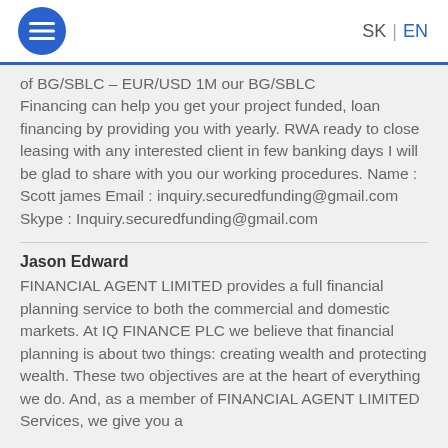SK | EN
of BG/SBLC – EUR/USD 1M our BG/SBLC Financing can help you get your project funded, loan financing by providing you with yearly. RWA ready to close leasing with any interested client in few banking days I will be glad to share with you our working procedures. Name : Scott james Email : inquiry.securedfunding@gmail.com Skype : Inquiry.securedfunding@gmail.com
Jason Edward
FINANCIAL AGENT LIMITED provides a full financial planning service to both the commercial and domestic markets. At IQ FINANCE PLC we believe that financial planning is about two things: creating wealth and protecting wealth. These two objectives are at the heart of everything we do. And, as a member of FINANCIAL AGENT LIMITED Services, we give you a